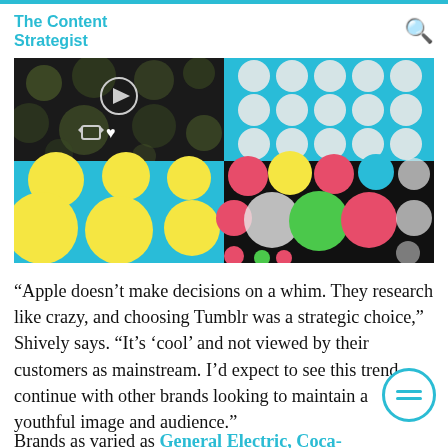The Content Strategist
[Figure (illustration): A 2x2 grid of colorful dot pattern images: top-left shows dark/olive circles on black with play button and media controls overlay; top-right shows white circles on light blue; bottom-left shows yellow circles on light blue; bottom-right shows red, green, white circles on black.]
“Apple doesn’t make decisions on a whim. They research like crazy, and choosing Tumblr was a strategic choice,” Shively says. “It’s ‘cool’ and not viewed by their customers as mainstream. I’d expect to see this trend continue with other brands looking to maintain a youthful image and audience.”
Brands as varied as General Electric, Coca-